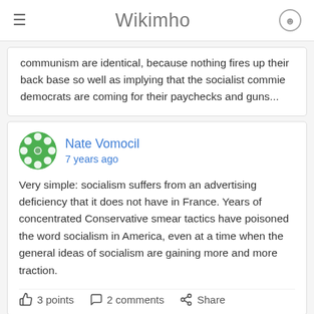Wikimho
communism are identical, because nothing fires up their back base so well as implying that the socialist commie democrats are coming for their paychecks and guns...
Nate Vomocil
7 years ago
Very simple: socialism suffers from an advertising deficiency that it does not have in France. Years of concentrated Conservative smear tactics have poisoned the word socialism in America, even at a time when the general ideas of socialism are gaining more and more traction.
3 points  2 comments  Share